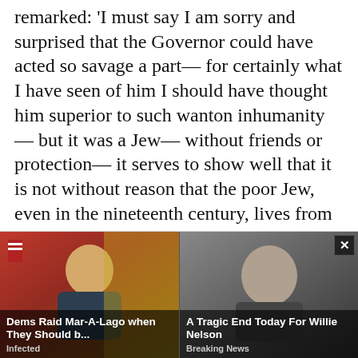remarked: 'I must say I am sorry and surprised that the Governor could have acted so savage a part— for certainly what I have seen of him I should have thought him superior to such wanton inhumanity— but it was a Jew— without friends or protection— it serves to show well that it is not without reason that the poor Jew, even in the nineteenth century, lives from day to day in terror of his life'.
...In fact, it took some time [i.e., at least a decade after the 1839 reforms] before these courts did accept dhimmi testimony in Palestine. The fact that Jews were represented on the meclis [provincial legal council] did not contribute a great deal to
[Figure (screenshot): An advertisement overlay with two clickbait ad cards. Left card shows a photo of a person in an official setting with US flags, headline 'Dems Raid Mar-A-Lago when They Should b...' sourced from 'Infected'. Right card shows a photo of an elderly man, headline 'A Tragic End Today For Willie Nelson' sourced from 'Breaking News'. A close button (×) appears at top right of the overlay.]